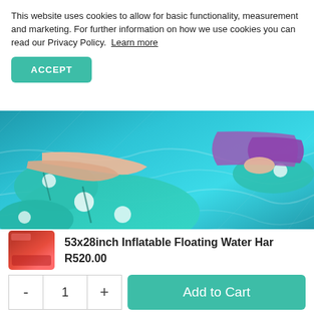This website uses cookies to allow for basic functionality, measurement and marketing. For further information on how we use cookies you can read our Privacy Policy.  Learn more
ACCEPT
[Figure (photo): Person in purple swimsuit lying on a teal inflatable pool float with white polka dots in a swimming pool with blue water]
[Figure (photo): Thumbnail of product - inflatable floating water hammock]
53x28inch Inflatable Floating Water Har
R520.00
Add to Cart